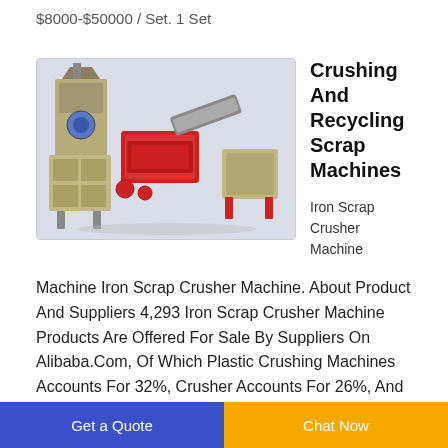$8000-$50000 / Set. 1 Set
[Figure (photo): Industrial crushing and recycling scrap machine system with conveyor belt, shredder units, and dust collection equipment, rendered in 3D CAD style on gray background]
Crushing And Recycling Scrap Machines
Iron Scrap Crusher Machine
Iron Scrap Crusher Machine. About Product And Suppliers 4,293 Iron Scrap Crusher Machine Products Are Offered For Sale By Suppliers On Alibaba.Com, Of Which Plastic Crushing Machines Accounts For 32%, Crusher Accounts For 26%, And Scrap Metal Shredders Accounts For 10%. Scrap
Get a Quote  |  Chat Now